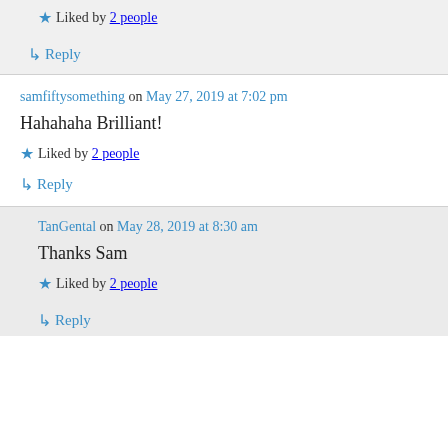Liked by 2 people
↳ Reply
samfiftysomething on May 27, 2019 at 7:02 pm
Hahahaha Brilliant!
Liked by 2 people
↳ Reply
TanGental on May 28, 2019 at 8:30 am
Thanks Sam
Liked by 2 people
↳ Reply